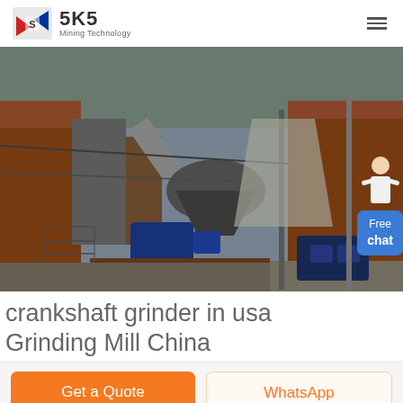SKS Mining Technology
[Figure (photo): Industrial mining equipment facility showing large machines, conveyor belts, crushers, and motors in an outdoor industrial setting with rust-colored steel structures]
crankshaft grinder in usa Grinding Mill China
Get a Quote
WhatsApp